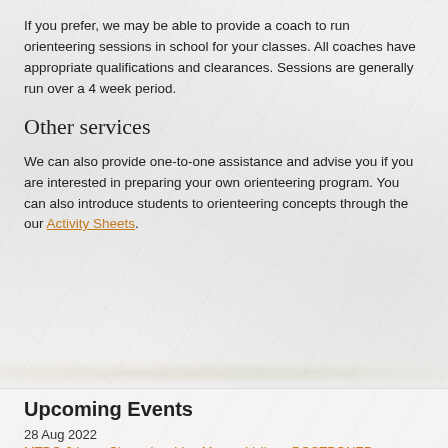If you prefer, we may be able to provide a coach to run orienteering sessions in school for your classes. All coaches have appropriate qualifications and clearances. Sessions are generally run over a 4 week period.
Other services
We can also provide one-to-one assistance and advise you if you are interested in preparing your own orienteering program. You can also introduce students to orienteering concepts through the our Activity Sheets.
Upcoming Events
28 Aug 2022
MTBO 6 Long Championships Murray Valley - POSTPONED